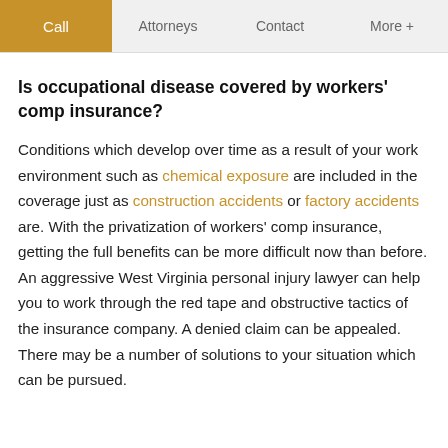Call | Attorneys | Contact | More +
Is occupational disease covered by workers' comp insurance?
Conditions which develop over time as a result of your work environment such as chemical exposure are included in the coverage just as construction accidents or factory accidents are. With the privatization of workers' comp insurance, getting the full benefits can be more difficult now than before. An aggressive West Virginia personal injury lawyer can help you to work through the red tape and obstructive tactics of the insurance company. A denied claim can be appealed. There may be a number of solutions to your situation which can be pursued.